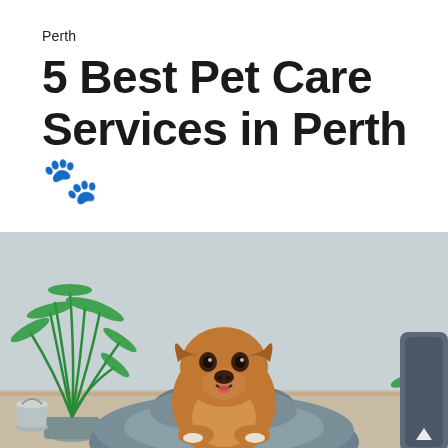Perth
5 Best Pet Care Services in Perth🐾
[Figure (photo): A golden-brown dog sitting in a large grey pet bed/bean bag, with green tropical plants in the background against a light grey wall. A silver bucket and small plant are visible in the lower right corner.]